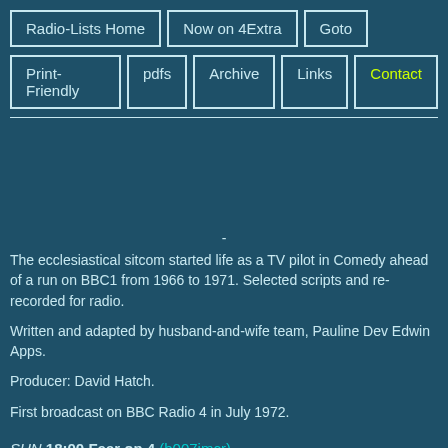Radio-Lists Home | Now on 4Extra | Goto | Print-Friendly | pdfs | Archive | Links | Contact
The ecclesiastical sitcom started life as a TV pilot in Comedy ahead of a run on BBC1 from 1966 to 1971. Selected scripts and re-recorded for radio.
Written and adapted by husband-and-wife team, Pauline Dev Edwin Apps.
Producer: David Hatch.
First broadcast on BBC Radio 4 in July 1972.
SUN 18:00 Fear on 4 (b007jmcr)
Series 1

The Face
A... text if in... a... to ... it... Ste... Bro...